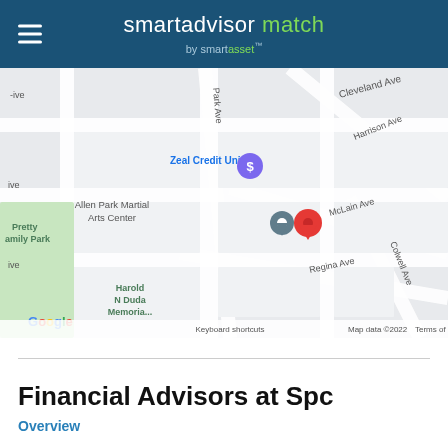smartadvisor match by smartasset™
[Figure (map): Google Maps screenshot showing Allen Park area with streets: Park Ave, Cleveland Ave, Harrison Ave, McLain Ave, Regina Ave, Colwell Ave. Points of interest: Zeal Credit Union, Allen Park Martial Arts Center, Pretty Family Park, Harold N Duda Memoria. Red location pin and gray pin visible near McLain Ave. Google logo and 'Map data ©2022 Terms of Use Keyboard shortcuts' visible at bottom.]
Financial Advisors at Spc
Overview